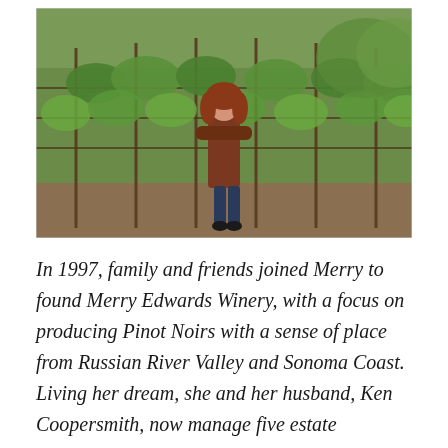[Figure (photo): A woman with auburn hair in a brown jacket stands with arms crossed in a lush vineyard with green grapevines on wooden trellises.]
In 1997, family and friends joined Merry to found Merry Edwards Winery, with a focus on producing Pinot Noirs with a sense of place from Russian River Valley and Sonoma Coast. Living her dream, she and her husband, Ken Coopersmith, now manage five estate vineyards: Coopersmith, Cresta d'Oro, Flax, Georganne and Meredith. They maintain collaborative relationships with several other dedicated